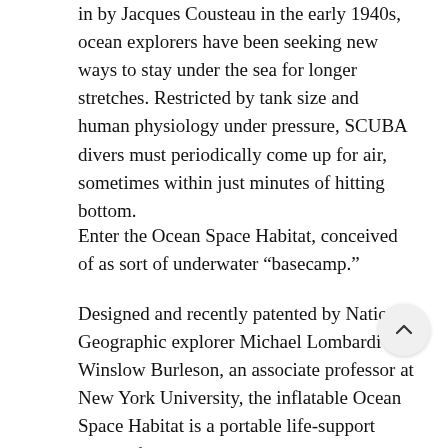in by Jacques Cousteau in the early 1940s, ocean explorers have been seeking new ways to stay under the sea for longer stretches. Restricted by tank size and human physiology under pressure, SCUBA divers must periodically come up for air, sometimes within just minutes of hitting bottom.
Enter the Ocean Space Habitat, conceived of as sort of underwater “basecamp.”
Designed and recently patented by National Geographic explorer Michael Lombardi and Winslow Burleson, an associate professor at New York University, the inflatable Ocean Space Habitat is a portable life-support system for divers who want to go deeper and stay longer than conventional SCUBA allows.